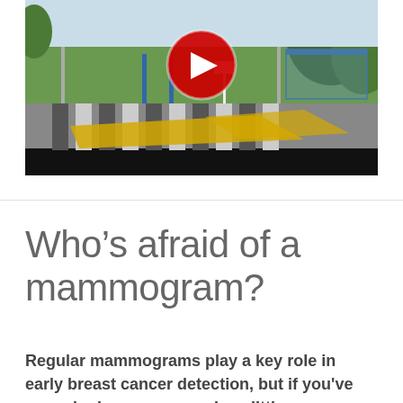[Figure (photo): Outdoor scene showing a crosswalk/zebra crossing area with yellow markings, street lights, trees and greenery, a bus shelter or covered walkway, with a red YouTube-style play button overlay in the center top area indicating a video thumbnail.]
Who's afraid of a mammogram?
Regular mammograms play a key role in early breast cancer detection, but if you've never had one, you may be a little apprehensive.